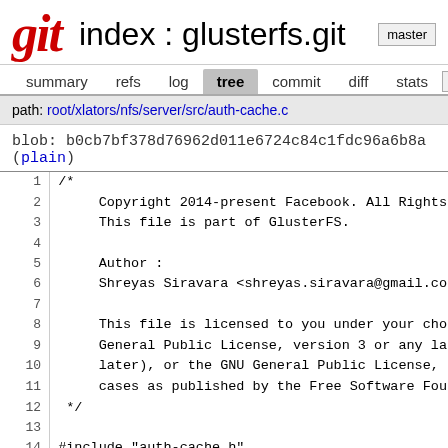Git index : glusterfs.git  master
summary  refs  log  tree  commit  diff  stats  log
path: root/xlators/nfs/server/src/auth-cache.c
blob: b0cb7bf378d76962d011e6724c84c1fdc96a6b8a (plain)
1  /*
2       Copyright 2014-present Facebook. All Rights
3       This file is part of GlusterFS.
4  
5       Author :
6       Shreyas Siravara <shreyas.siravara@gmail.co
7  
8       This file is licensed to you under your cho
9       General Public License, version 3 or any la
10      later), or the GNU General Public License,
11      cases as published by the Free Software Fou
12  */
13  
14  #include "auth-cache.h"
15  #include "nfs3.h"
16  #include "exports.h"
17  #include "nfs-messages.h"